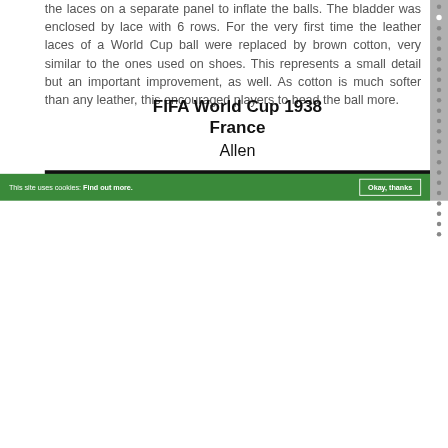the laces on a separate panel to inflate the balls. The bladder was enclosed by lace with 6 rows. For the very first time the leather laces of a World Cup ball were replaced by brown cotton, very similar to the ones used on shoes. This represents a small detail but an important improvement, as well. As cotton is much softer than any leather, this encouraged players to head the ball more.
FIFA World Cup 1938 France
Allen
[Figure (photo): Black image placeholder at bottom of page]
This site uses cookies: Find out more. Okay, thanks